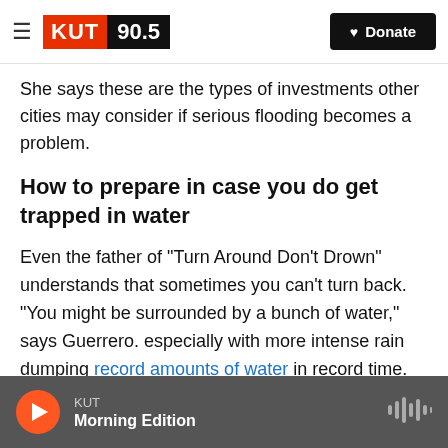KUT 90.5 | Donate
She says these are the types of investments other cities may consider if serious flooding becomes a problem.
How to prepare in case you do get trapped in water
Even the father of "Turn Around Don't Drown" understands that sometimes you can't turn back. "You might be surrounded by a bunch of water," says Guerrero. especially with more intense rain dumping record amounts of water in record time.
He says that flood water can make it difficult to
KUT | Morning Edition